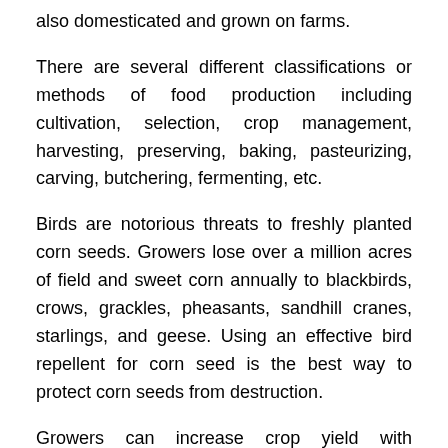also domesticated and grown on farms.
There are several different classifications or methods of food production including cultivation, selection, crop management, harvesting, preserving, baking, pasteurizing, carving, butchering, fermenting, etc.
Birds are notorious threats to freshly planted corn seeds. Growers lose over a million acres of field and sweet corn annually to blackbirds, crows, grackles, pheasants, sandhill cranes, starlings, and geese. Using an effective bird repellent for corn seed is the best way to protect corn seeds from destruction.
Growers can increase crop yield with nonlethal, nontoxic Avipel seed treatment made from an organic